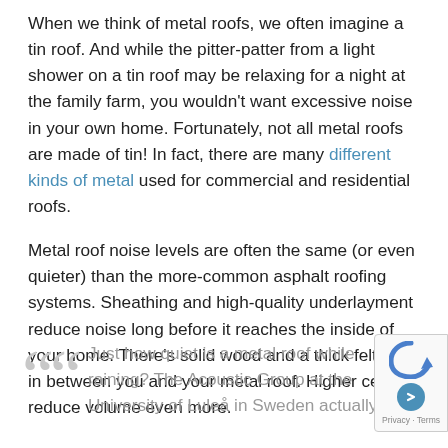When we think of metal roofs, we often imagine a tin roof. And while the pitter-patter from a light shower on a tin roof may be relaxing for a night at the family farm, you wouldn't want excessive noise in your own home. Fortunately, not all metal roofs are made of tin! In fact, there are many different kinds of metal used for commercial and residential roofs.
Metal roof noise levels are often the same (or even quieter) than the more-common asphalt roofing systems. Sheathing and high-quality underlayment reduce noise long before it reaches the inside of your home. There's solid wood and a thick felt layer in between you and your metal roof. Higher ceilings reduce volume even more.
Just how quiet is a metal roof while raining? The Acoustic Group at the University of Luleå in Sweden actually